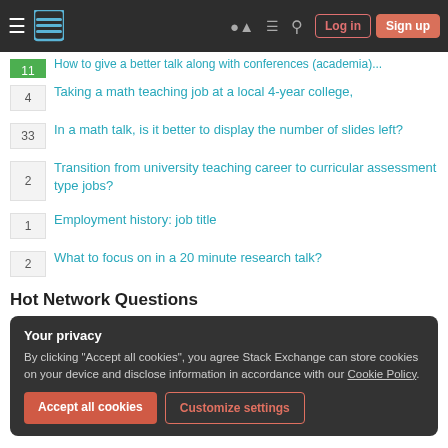Navigation bar with Stack Exchange logo, Log in, Sign up buttons
11 | How to give a better talk along with conferences (academia)
4 | Taking a math teaching job at a local 4-year college,
33 | In a math talk, is it better to display the number of slides left?
2 | Transition from university teaching career to curricular assessment type jobs?
1 | Employment history: job title
2 | What to focus on in a 20 minute research talk?
Hot Network Questions
Your privacy
By clicking "Accept all cookies", you agree Stack Exchange can store cookies on your device and disclose information in accordance with our Cookie Policy.
Accept all cookies | Customize settings